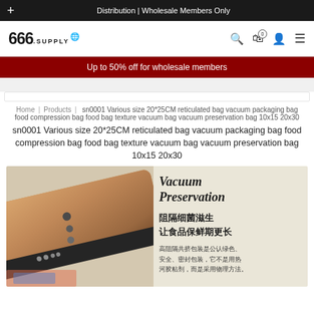+ Distribution | Wholesale Members Only
[Figure (logo): 666.supply logo with globe icon and navigation icons (search, cart, account, menu)]
Up to 50% off for wholesale members
Home | Products | sn0001 Various size 20*25CM reticulated bag vacuum packaging bag food compression bag food bag texture vacuum bag vacuum preservation bag 10x15 20x30
sn0001 Various size 20*25CM reticulated bag vacuum packaging bag food compression bag food bag texture vacuum bag vacuum preservation bag 10x15 20x30
[Figure (photo): Product image showing a vacuum sealer machine in gold/bronze color on the left, with text on the right reading 'Vacuum Preservation' in italic, followed by Chinese text '阻隔细菌滋生 让食品保鲜期更长' and smaller Chinese text '高阻隔共挤包装是公认绿色、安全、密封包装，它不是用热河胶粘剂，而是采用物理方法。']